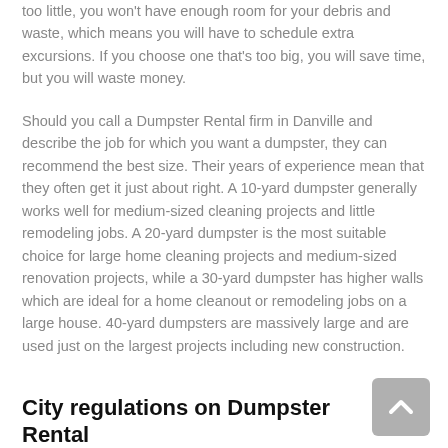too little, you won't have enough room for your debris and waste, which means you will have to schedule extra excursions. If you choose one that's too big, you will save time, but you will waste money.
Should you call a Dumpster Rental firm in Danville and describe the job for which you want a dumpster, they can recommend the best size. Their years of experience mean that they often get it just about right. A 10-yard dumpster generally works well for medium-sized cleaning projects and little remodeling jobs. A 20-yard dumpster is the most suitable choice for large home cleaning projects and medium-sized renovation projects, while a 30-yard dumpster has higher walls which are ideal for a home cleanout or remodeling jobs on a large house. 40-yard dumpsters are massively large and are used just on the largest projects including new construction.
City regulations on Dumpster Rental